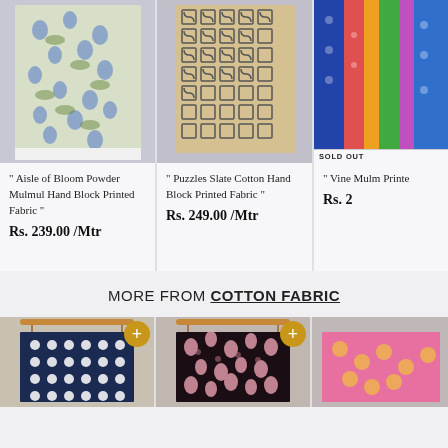[Figure (photo): Floral blue and green block print fabric on grey background - Aisle of Bloom Powder Mulmul]
" Aisle of Bloom Powder Mulmul Hand Block Printed Fabric "
Rs. 239.00 /Mtr
[Figure (photo): Tan/beige maze/puzzle pattern cotton hand block printed fabric on grey background]
" Puzzles Slate Cotton Hand Block Printed Fabric "
Rs. 249.00 /Mtr
[Figure (photo): Partially visible colorful fabric with SOLD OUT banner]
" Vine Mulm Printe
Rs. 2
MORE FROM COTTON FABRIC
[Figure (photo): Navy blue and white polka dot fabric hanging on wooden rod with gold plus button]
[Figure (photo): Pink floral block print fabric on dark background hanging on wooden rod with gold plus button]
[Figure (photo): Colorful fabric partially visible on right edge]